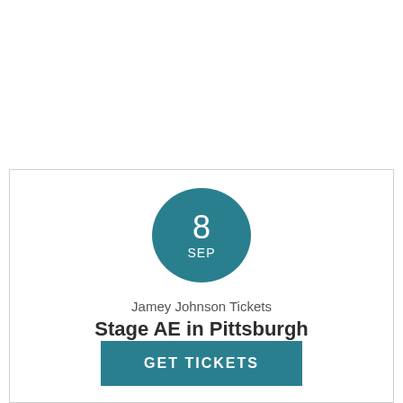[Figure (other): Teal circular date badge showing '8' and 'SEP']
Jamey Johnson Tickets
Stage AE in Pittsburgh
GET TICKETS